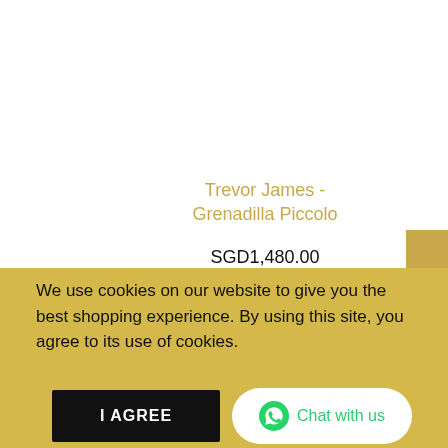Trevor James - Grenadilla Piccolo
SGD1,480.00
Loyalty Program
We use cookies on our website to give you the best shopping experience. By using this site, you agree to its use of cookies.
I AGREE
Chat with us